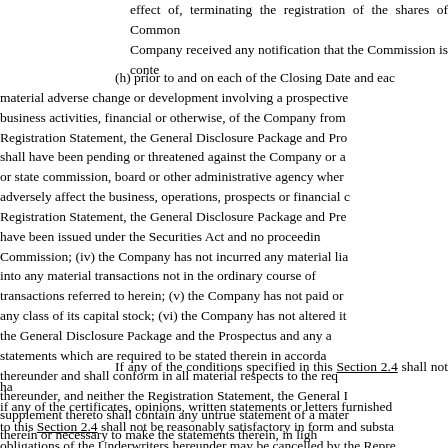effect of, terminating the registration of the shares of Common Company received any notification that the Commission is conte
(h) prior to and on each of the Closing Date and eac material adverse change or development involving a prospective business activities, financial or otherwise, of the Company from Registration Statement, the General Disclosure Package and Pro shall have been pending or threatened against the Company or a or state commission, board or other administrative agency wher adversely affect the business, operations, prospects or financial c Registration Statement, the General Disclosure Package and Pre have been issued under the Securities Act and no proceedin Commission; (iv) the Company has not incurred any material lia into any material transactions not in the ordinary course of transactions referred to herein; (v) the Company has not paid or any class of its capital stock; (vi) the Company has not altered it the General Disclosure Package and the Prospectus and any a statements which are required to be stated therein in accorda thereunder and shall conform in all material respects to the req thereunder, and neither the Registration Statement, the General I supplement thereto shall contain any untrue statement of a mater therein or necessary to make the statements therein, in ligh misleading.
If any of the conditions specified in this Section 2.4 shall not ha if any of the certificates, opinions, written statements or letters furnished to this Section 2.4 shall not be reasonably satisfactory in form and substa obligations of the Underwriters hereunder may be cancelled by the Repre